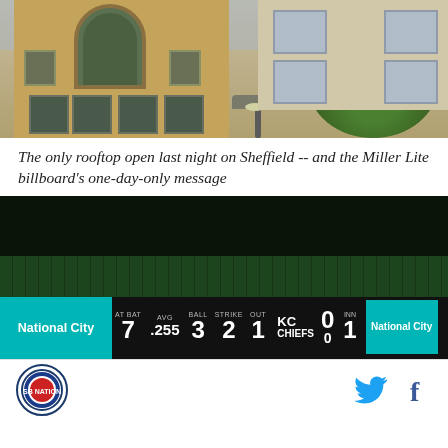[Figure (photo): Photo of rooftop building on Sheffield Avenue with brick facade and arched windows, trees and another building visible in background]
The only rooftop open last night on Sheffield -- and the Miller Lite billboard's one-day-only message
[Figure (photo): Photo of Wrigley Field scoreboard showing National City bank advertisement, AT BAT 7, AVG .255, BALL 3, STRIKE 2, OUT 1, KC CHIEFS 0, INN 1, and another National City sign]
Logo icon, Twitter bird icon, Facebook f icon